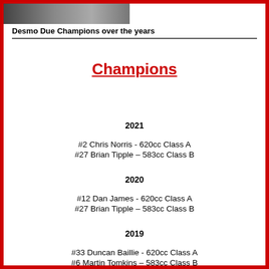[Figure (photo): Partial photo of a racing motorcycle or vehicle, cropped at top of page]
Desmo Due Champions over the years
Champions
2021
#2 Chris Norris - 620cc Class A
#27 Brian Tipple – 583cc Class B
2020
#12 Dan James - 620cc Class A
#27 Brian Tipple – 583cc Class B
2019
#33 Duncan Baillie - 620cc Class A
#6 Martin Tomkins – 583cc Class B